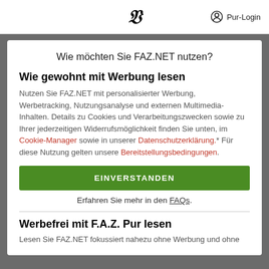F Pur-Login
Wie möchten Sie FAZ.NET nutzen?
Wie gewohnt mit Werbung lesen
Nutzen Sie FAZ.NET mit personalisierter Werbung, Werbetracking, Nutzungsanalyse und externen Multimedia-Inhalten. Details zu Cookies und Verarbeitungszwecken sowie zu Ihrer jederzeitigen Widerrufsmöglichkeit finden Sie unten, im Cookie-Manager sowie in unserer Datenschutzerklärung.* Für diese Nutzung gelten unsere Bereitstellungsbedingungen.
EINVERSTANDEN
Erfahren Sie mehr in den FAQs.
Werbefrei mit F.A.Z. Pur lesen
Lesen Sie FAZ.NET fokussiert nahezu ohne Werbung und ohne